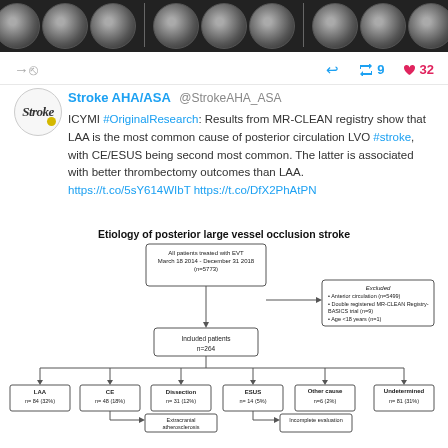[Figure (photo): MRI brain scan images shown as a horizontal banner at the top]
Stroke AHA/ASA @StrokeAHA_ASA
ICYMI #OriginalResearch: Results from MR-CLEAN registry show that LAA is the most common cause of posterior circulation LVO #stroke, with CE/ESUS being second most common. The latter is associated with better thrombectomy outcomes than LAA.
https://t.co/5sY614WIbT https://t.co/DfX2PhAtPN
[Figure (flowchart): Etiology of posterior large vessel occlusion stroke flowchart. All patients treated with EVT March 18 2014 - December 31 2018 (n=5773) -> Excluded: Anterior circulation (n=5499), Double registered MR-CLEAN Registry-BASICS trial (n=9), Age <18 years (n=1) -> Included patients n=264 -> LAA n=84 (32%), CE n=48 (18%), Dissection n=31 (12%), ESUS n=14 (5%), Other cause n=6 (2%), Undetermined n=81 (31%) -> Extracranial atherosclerosis, Incomplete evaluation]